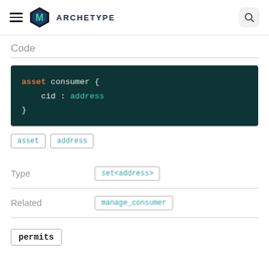ARCHETYPE
Code
asset consumer {
    cid : address
}
asset
address
| Type | Related |
| --- | --- |
| set<address> |
| manage_consumer |
permits